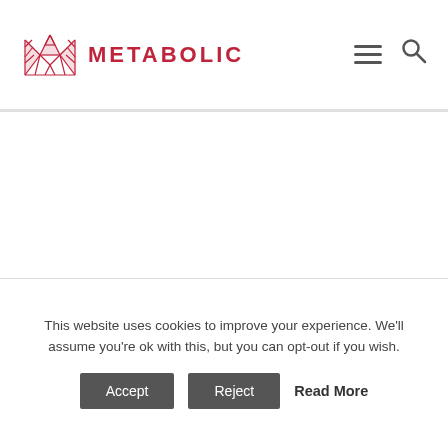METABOLIC
This website uses cookies to improve your experience. We'll assume you're ok with this, but you can opt-out if you wish.
Accept   Reject   Read More